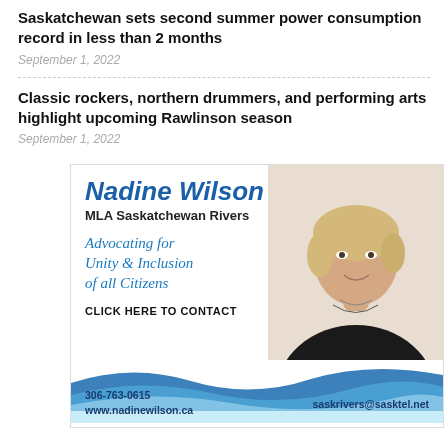Saskatchewan sets second summer power consumption record in less than 2 months
September 1, 2022
Classic rockers, northern drummers, and performing arts highlight upcoming Rawlinson season
September 1, 2022
[Figure (illustration): Advertisement for Nadine Wilson, MLA Saskatchewan Rivers. Features her photo, slogan 'Advocating for Unity & Inclusion of all Citizens', contact info: 306-763-0615, www.nadinewilson.ca, saskrivers@sasktel.net. Blue wave design at bottom.]